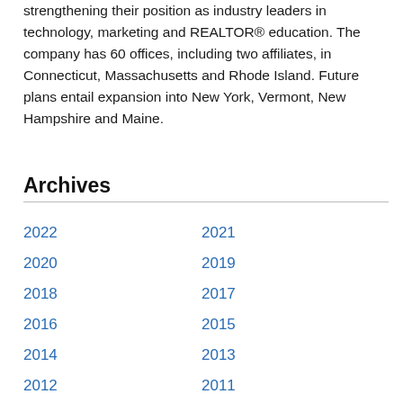strengthening their position as industry leaders in technology, marketing and REALTOR® education. The company has 60 offices, including two affiliates, in Connecticut, Massachusetts and Rhode Island. Future plans entail expansion into New York, Vermont, New Hampshire and Maine.
Archives
2022
2021
2020
2019
2018
2017
2016
2015
2014
2013
2012
2011
2010
2009
2008
2007